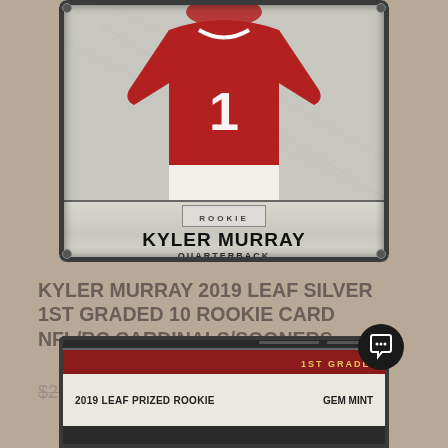[Figure (photo): Kyler Murray 2019 Leaf Silver Rookie football card in a protective case, showing player in red jersey with number 1, labeled ROOKIE, KYLER MURRAY, QUARTERBACK]
KYLER MURRAY 2019 LEAF SILVER 1ST GRADED 10 ROOKIE CARD NFL/RC CARDINALS/SOONERS
$29.99  $28.99
[Figure (photo): Bottom portion of a 2019 Leaf Prized Rookie card in a graded case showing '1ST GRADED' in red/gold text and '2019 LEAF PRIZED ROOKIE' with 'GEM MINT' grade label]